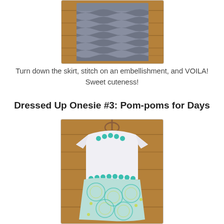[Figure (photo): Gray ruffled skirt hanging on a wooden background]
Turn down the skirt, stitch on an embellishment, and VOILA! Sweet cuteness!
Dressed Up Onesie #3: Pom-poms for Days
[Figure (photo): White long-sleeve onesie with teal pom-pom trim at neckline and waist, with a colorful teal and yellow patterned skirt, hanging on a wooden hanger against a wood background]